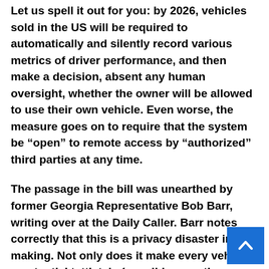Let us spell it out for you: by 2026, vehicles sold in the US will be required to automatically and silently record various metrics of driver performance, and then make a decision, absent any human oversight, whether the owner will be allowed to use their own vehicle. Even worse, the measure goes on to require that the system be “open” to remote access by “authorized” third parties at any time.
The passage in the bill was unearthed by former Georgia Representative Bob Barr, writing over at the Daily Caller. Barr notes correctly that this is a privacy disaster in the making. Not only does it make every vehicle a potential tattletale (possibly reporting minor traffic infractions, like slight speeding or forgetting seat-belt, to authorities or insurance companies), but